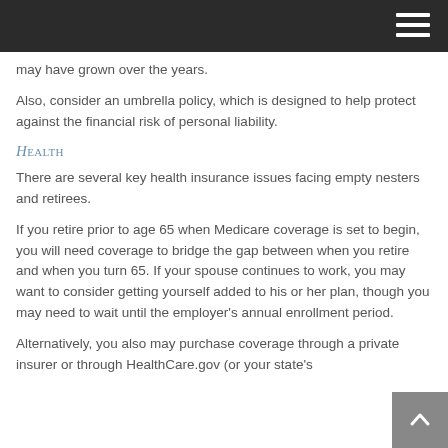may have grown over the years.
Also, consider an umbrella policy, which is designed to help protect against the financial risk of personal liability.
Health
There are several key health insurance issues facing empty nesters and retirees.
If you retire prior to age 65 when Medicare coverage is set to begin, you will need coverage to bridge the gap between when you retire and when you turn 65. If your spouse continues to work, you may want to consider getting yourself added to his or her plan, though you may need to wait until the employer's annual enrollment period.
Alternatively, you also may purchase coverage through a private insurer or through HealthCare.gov (or your state's